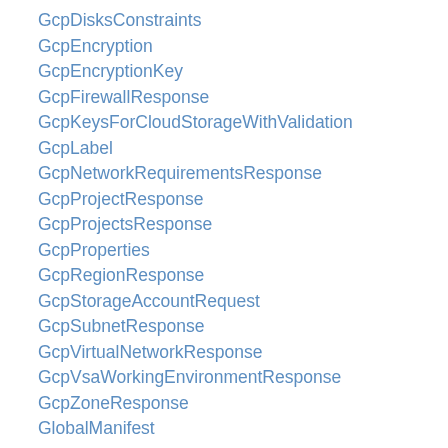GcpDisksConstraints
GcpEncryption
GcpEncryptionKey
GcpFirewallResponse
GcpKeysForCloudStorageWithValidation
GcpLabel
GcpNetworkRequirementsResponse
GcpProjectResponse
GcpProjectsResponse
GcpProperties
GcpRegionResponse
GcpStorageAccountRequest
GcpSubnetResponse
GcpVirtualNetworkResponse
GcpVsaWorkingEnvironmentResponse
GcpZoneResponse
GlobalManifest